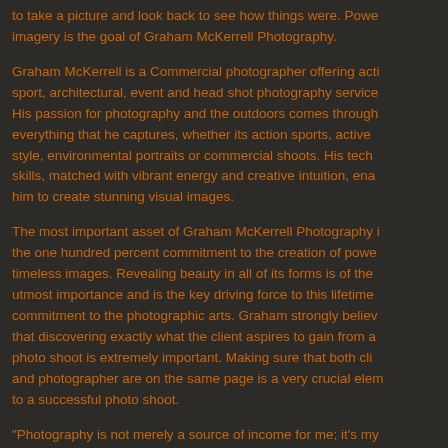to take a picture and look back to see how things were. Powerful imagery is the goal of Graham McKerrell Photography.
Graham McKerrell is a Commercial photographer offering action, sport, architectural, event and head shot photography services. His passion for photography and the outdoors comes through in everything that he captures, whether its action sports, active lifestyle, environmental portraits or commercial shoots. His technical skills, matched with vibrant energy and creative intuition, enable him to create stunning visual images.
The most important asset of Graham McKerrell Photography is the one hundred percent commitment to the creation of powerful, timeless images. Revealing beauty in all of its forms is of the utmost importance and is the key driving force to this lifetime commitment to the photographic arts. Graham strongly believes that discovering exactly what the client aspires to gain from a photo shoot is extremely important. Making sure that both client and photographer are on the same page is a very crucial element to a successful photo shoot.
"Photography is not merely a source of income for me; it's my life's passion. I continually obsess over photos, daydream about upcoming sessions, and play out new photographic ideas...